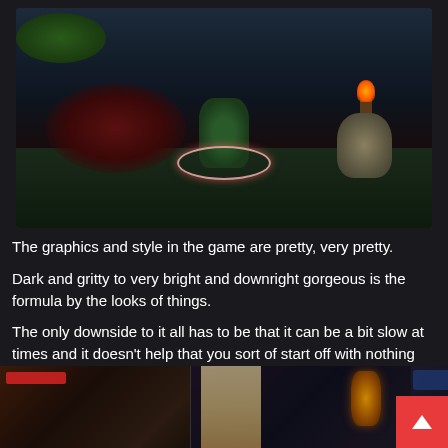[Figure (screenshot): Video game screenshot showing a character with a glowing red circle beneath them facing a group of red-armored enemies on the left. A torch and decorative urn are visible on the right side. Dark atmospheric game scene with green foliage in the upper left.]
The graphics and style in the game are pretty, very pretty.
Dark and gritty to very bright and downright gorgeous is the formula by the looks of things.
The only downside to it all has to be that it can be a bit slow at times and it doesn't help that you sort of start off with nothing and instantly have to start grinding to get somewhere at all.
[Figure (screenshot): Three side-by-side smaller video game screenshots at the bottom: left shows HUD/character interface, middle shows scrolls and a lantern, right shows game UI elements. A red scroll-to-top button is in the bottom right corner.]